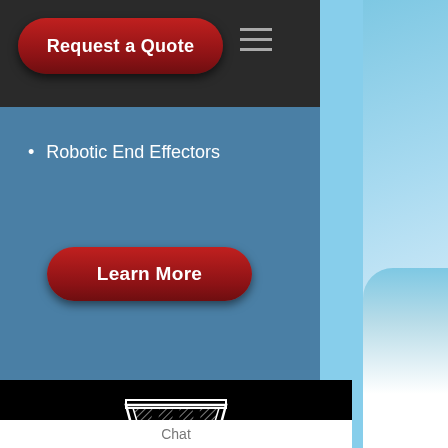[Figure (screenshot): Website screenshot showing navigation header with Request a Quote button (dark red rounded button) and hamburger menu icon on dark background, followed by blue section with Robotic End Effectors bullet, Learn More button, then black section with stylized W logo, CASTING PATTERNS & CORE BOXES heading, Faster Delivery bullet, and Chat footer]
Robotic End Effectors
Learn More
CASTING PATTERNS & CORE BOXES
Faster Delivery
Chat